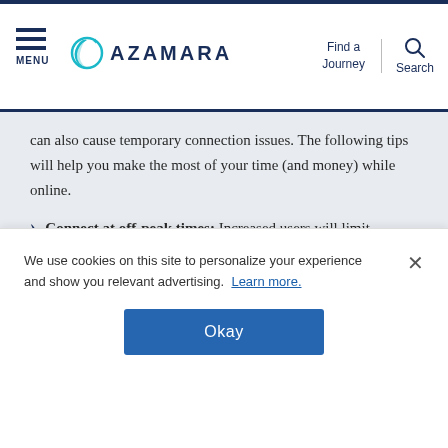MENU | AZAMARA | Find a Journey | Search
can also cause temporary connection issues. The following tips will help you make the most of your time (and money) while online.
Connect at off-peak times: Increased users will limit bandwidth available on board. Try connecting to the Internet in the evening when fewer users will be online, or in port when most travelers are off ship.
Avoid bandwidth-heavy services: Using social media to stay in touch doesn’t take up much bandwidth, but video streaming
We use cookies on this site to personalize your experience and show you relevant advertising. Learn more.
Okay